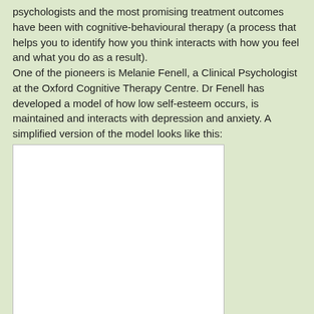psychologists and the most promising treatment outcomes have been with cognitive-behavioural therapy (a process that helps you to identify how you think interacts with how you feel and what you do as a result).
One of the pioneers is Melanie Fenell, a Clinical Psychologist at the Oxford Cognitive Therapy Centre. Dr Fenell has developed a model of how low self-esteem occurs, is maintained and interacts with depression and anxiety. A simplified version of the model looks like this:
[Figure (other): A white rectangular blank diagram area representing a simplified model of how low self-esteem occurs, is maintained and interacts with depression and anxiety (Fenell's model).]
This diagram may look daunting but can be understood if